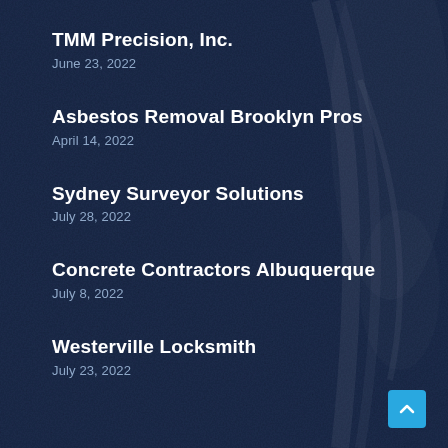TMM Precision, Inc.
June 23, 2022
Asbestos Removal Brooklyn Pros
April 14, 2022
Sydney Surveyor Solutions
July 28, 2022
Concrete Contractors Albuquerque
July 8, 2022
Westerville Locksmith
July 23, 2022